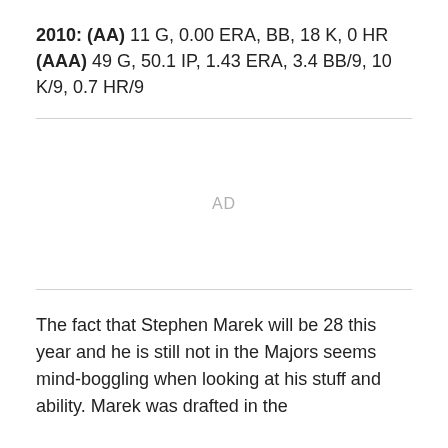2010: (AA) 11 G, 0.00 ERA, BB, 18 K, 0 HR (AAA) 49 G, 50.1 IP, 1.43 ERA, 3.4 BB/9, 10 K/9, 0.7 HR/9
[Figure (other): Advertisement placeholder area labeled AD]
The fact that Stephen Marek will be 28 this year and he is still not in the Majors seems mind-boggling when looking at his stuff and ability. Marek was drafted in the